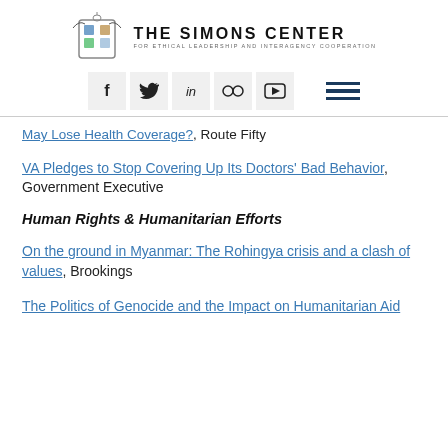[Figure (logo): The Simons Center for Ethical Leadership and Interagency Cooperation logo with crest and text]
[Figure (infographic): Social media icon buttons: Facebook, Twitter, LinkedIn, Flickr, YouTube, and hamburger menu icon]
May Lose Health Coverage?, Route Fifty
VA Pledges to Stop Covering Up Its Doctors' Bad Behavior, Government Executive
Human Rights & Humanitarian Efforts
On the ground in Myanmar: The Rohingya crisis and a clash of values, Brookings
The Politics of Genocide and the Impact on Humanitarian Aid and Security Management, PRIO